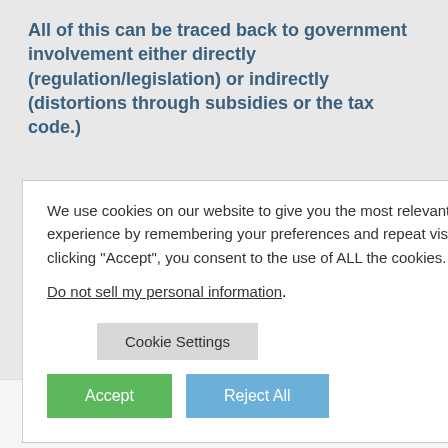All of this can be traced back to government involvement either directly (regulation/legislation) or indirectly (distortions through subsidies or the tax code.)
We use cookies on our website to give you the most relevant experience by remembering your preferences and repeat visits. By clicking “Accept”, you consent to the use of ALL the cookies.
Do not sell my personal information.
f we continue
re residents or
rms of the
ere for a career.
REPLY
DECEMBER 10, 2009 AT 5:51 AM